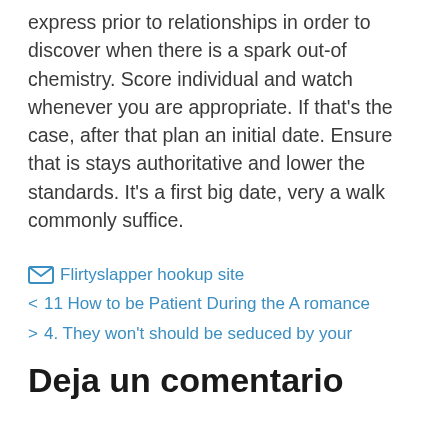express prior to relationships in order to discover when there is a spark out-of chemistry. Score individual and watch whenever you are appropriate. If that's the case, after that plan an initial date. Ensure that is stays authoritative and lower the standards. It's a first big date, very a walk commonly suffice.
Flirtyslapper hookup site
< 11 How to be Patient During the A romance
> 4. They won't should be seduced by your
Deja un comentario